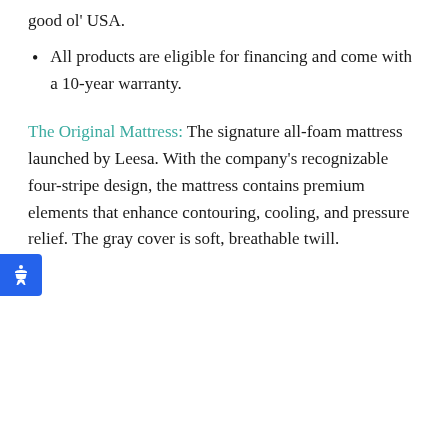good ol' USA.
All products are eligible for financing and come with a 10-year warranty.
The Original Mattress: The signature all-foam mattress launched by Leesa. With the company's recognizable four-stripe design, the mattress contains premium elements that enhance contouring, cooling, and pressure relief. The gray cover is soft, breathable twill.